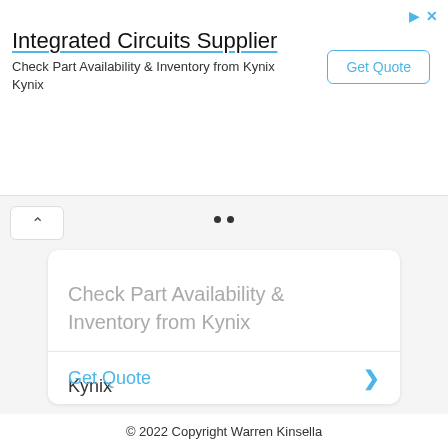Integrated Circuits Supplier
Check Part Availability & Inventory from Kynix Kynix
[Figure (other): Get Quote button in top-right of ad banner]
Check Part Availability & Inventory from Kynix
Kynix
Get Quote
© 2022 Copyright Warren Kinsella